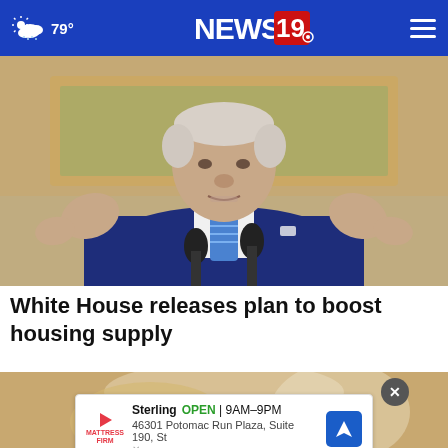79° NEWS 19
[Figure (photo): President Biden speaking at a podium with two microphones, gesturing with both hands, wearing a blue suit and blue striped tie, White House interior background]
White House releases plan to boost housing supply
[Figure (photo): Partial second news story photo, partially obscured by advertisement overlay]
Sterling  OPEN | 9AM–9PM  46301 Potomac Run Plaza, Suite 190, St